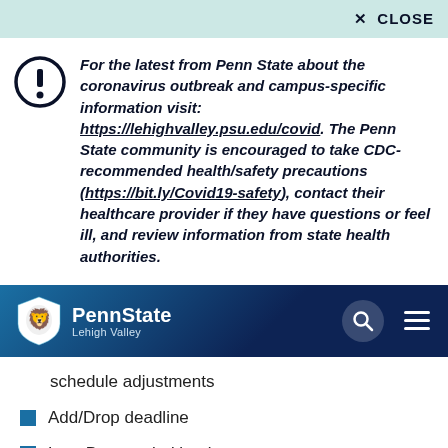✕ CLOSE
For the latest from Penn State about the coronavirus outbreak and campus-specific information visit: https://lehighvalley.psu.edu/covid. The Penn State community is encouraged to take CDC-recommended health/safety precautions (https://bit.ly/Covid19-safety), contact their healthcare provider if they have questions or feel ill, and review information from state health authorities.
[Figure (logo): Penn State Lehigh Valley navigation bar with lion shield logo, search icon, and hamburger menu icon]
schedule adjustments
Add/Drop deadline
Late Drop period begins